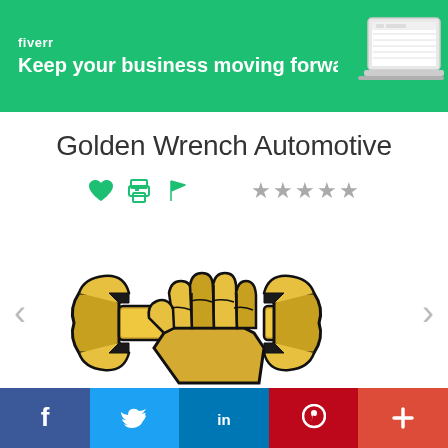[Figure (screenshot): Fiverr advertisement banner: green background with 'fiverr' logo text and tagline 'Keep your business moving forward', laptop image on the right]
Golden Wrench Automotive
[Figure (infographic): Row of icons: heart, printer, flag (in green), followed by 5 grey stars for rating]
[Figure (logo): Golden Wrench Automotive logo: golden fist with wrench shapes on either side, black outline style, gold/yellow coloring]
[Figure (infographic): Social media share bar at bottom: Facebook (blue), Twitter (light blue), LinkedIn (dark blue), Pinterest (red), plus/add button (red-orange)]